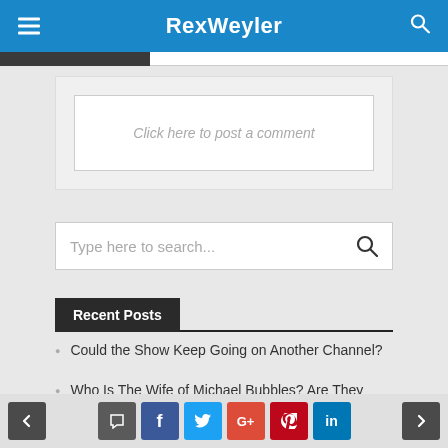RexWeyler
Click here to post a comment
Type here to search...
Recent Posts
Could the Show Keep Going on Another Channel?
Who Is The Wife of Michael Bubbles? Are They Planning For A Fourth Child?
< comment f t G+ pinterest in >